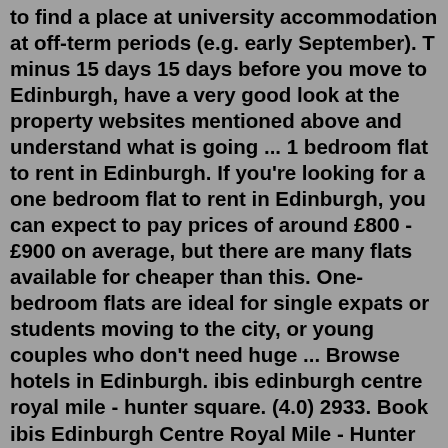to find a place at university accommodation at off-term periods (e.g. early September). T minus 15 days 15 days before you move to Edinburgh, have a very good look at the property websites mentioned above and understand what is going ... 1 bedroom flat to rent in Edinburgh. If you're looking for a one bedroom flat to rent in Edinburgh, you can expect to pay prices of around £800 - £900 on average, but there are many flats available for cheaper than this. One-bedroom flats are ideal for single expats or students moving to the city, or young couples who don't need huge ... Browse hotels in Edinburgh. ibis edinburgh centre royal mile - hunter square. (4.0) 2933. Book ibis Edinburgh Centre Royal Mile - Hunter Square. ibis edinburgh centre south bridge - royal mile. (4.0) 3463. Book ibis Edinburgh Centre South Bridge - Royal Mile. ibis styles edinburgh st andrew square. (4.5) 2502.You should do this as long in advance as possible, to get cheaper prices. If you are a student, you may be able to find a place at university accommodation at off-term periods (e.g.